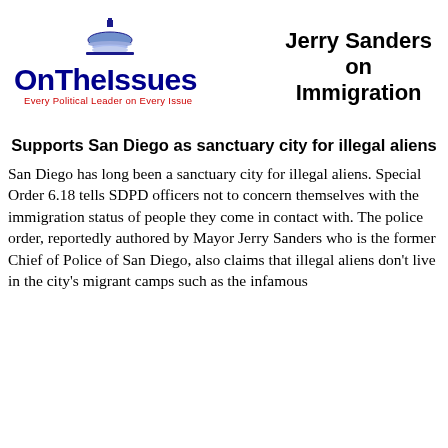[Figure (logo): OnTheIssues logo with dome graphic and tagline 'Every Political Leader on Every Issue']
Jerry Sanders on Immigration
Supports San Diego as sanctuary city for illegal aliens
San Diego has long been a sanctuary city for illegal aliens. Special Order 6.18 tells SDPD officers not to concern themselves with the immigration status of people they come in contact with. The police order, reportedly authored by Mayor Jerry Sanders who is the former Chief of Police of San Diego, also claims that illegal aliens don't live in the city's migrant camps such as the infamous McZant's Ignore. Mayor Sanders and Chief Bill Lansdowne...